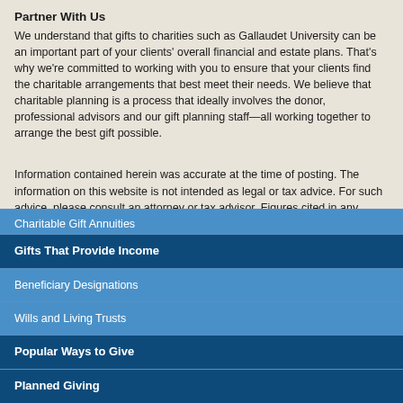Partner With Us
We understand that gifts to charities such as Gallaudet University can be an important part of your clients' overall financial and estate plans. That's why we're committed to working with you to ensure that your clients find the charitable arrangements that best meet their needs. We believe that charitable planning is a process that ideally involves the donor, professional advisors and our gift planning staff—all working together to arrange the best gift possible.
Information contained herein was accurate at the time of posting. The information on this website is not intended as legal or tax advice. For such advice, please consult an attorney or tax advisor. Figures cited in any examples are for illustrative purposes only. References to tax rates include federal taxes only and are subject to change. State law may further impact your individual results.
Planned Giving
Popular Ways to Give
Wills and Living Trusts
Beneficiary Designations
Gifts That Provide Income
Charitable Gift Annuities